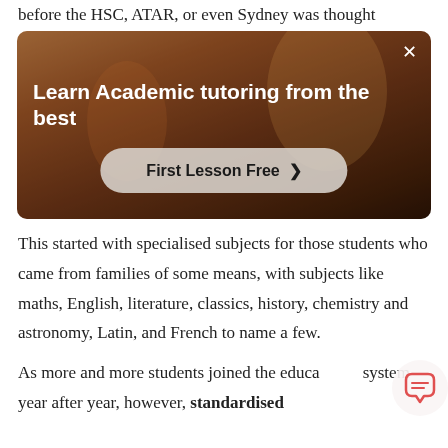before the HSC, ATAR, or even Sydney was thought
[Figure (photo): Advertisement banner with a person in a red top against a warm-toned background. Text overlay reads 'Learn Academic tutoring from the best' with a 'First Lesson Free >' button and a close (×) button.]
This started with specialised subjects for those students who came from families of some means, with subjects like maths, English, literature, classics, history, chemistry and astronomy, Latin, and French to name a few.
As more and more students joined the educational system year after year, however, standardised